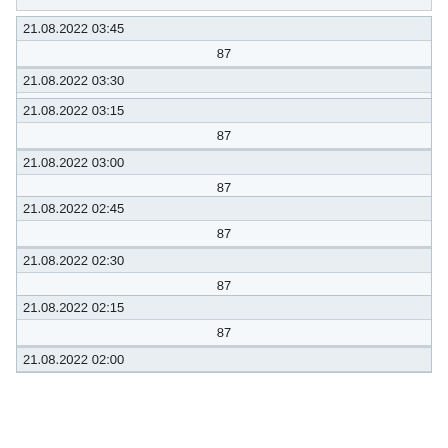| 21.08.2022 03:45 |
| 87 |
| 21.08.2022 03:30 |
| 87 |
| 21.08.2022 03:15 |
| 87 |
| 21.08.2022 03:00 |
| 87 |
| 21.08.2022 02:45 |
| 87 |
| 21.08.2022 02:30 |
| 87 |
| 21.08.2022 02:15 |
| 87 |
| 21.08.2022 02:00 |